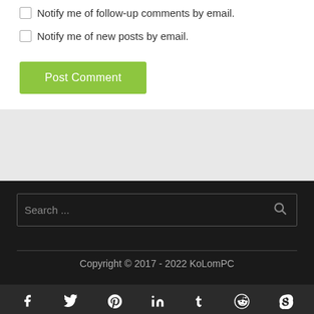Notify me of follow-up comments by email.
Notify me of new posts by email.
Post Comment
Search ...
Copyright © 2017 - 2022 KoLomPC
[Figure (other): Social media icons bar: Facebook, Twitter, Pinterest, LinkedIn, Tumblr, Reddit, Skype]